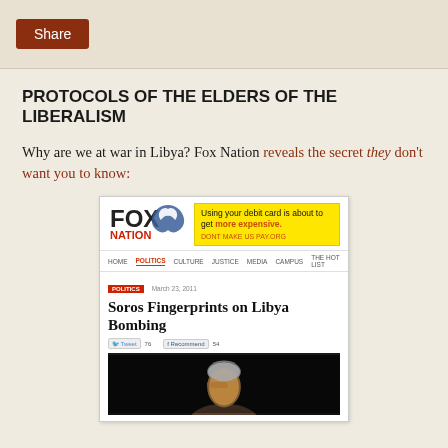[Figure (screenshot): Share button in top bar]
PROTOCOLS OF THE ELDERS OF THE LIBERALISM
Why are we at war in Libya? Fox Nation reveals the secret they don't want you to know:
[Figure (screenshot): Screenshot of Fox Nation website showing article 'Soros Fingerprints on Libya Bombing' with Fox Nation logo, yellow advertisement banner, navigation bar, article headline, and photo of a person]